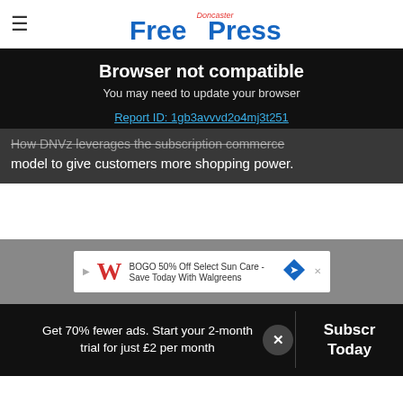Doncaster Free Press
Browser not compatible
You may need to update your browser
Report ID: 1gb3avvvd2o4mj3t251
How DNVz leverages the subscription commerce model to give customers more shopping power.
[Figure (screenshot): Walgreens advertisement: BOGO 50% Off Select Sun Care - Save Today With Walgreens]
Get 70% fewer ads. Start your 2-month trial for just £2 per month
Subscribe Today